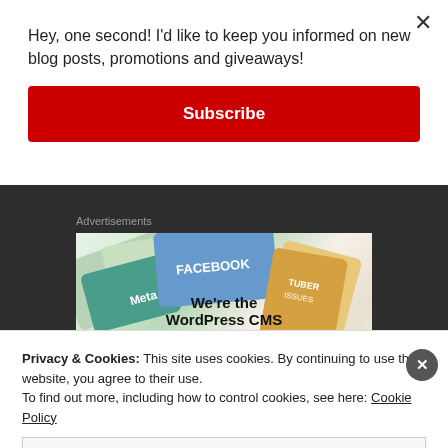Hey, one second! I'd like to keep you informed on new blog posts, promotions and giveaways!
Subscribe
Advertisements
[Figure (screenshot): Advertisement image showing social media platform cards (Meta, Facebook, etc.) with text 'We're the WordPress CMS']
Privacy & Cookies: This site uses cookies. By continuing to use this website, you agree to their use.
To find out more, including how to control cookies, see here: Cookie Policy
Close and accept